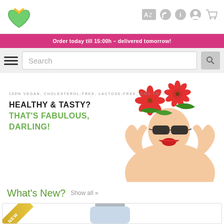[Figure (logo): Green heart with golden crown logo]
[Figure (infographic): Navigation icons: AZ, RSS feed, info, account, cart]
Order today till 15:00h - delivered tomorrow!
Search
[Figure (photo): Woman with red flowers in hair wearing sunglasses, excited expression, hands raised]
100% VEGAN, CHOLESTEROL-FREE, LACTOSE-FREE, GMO-FREE
HEALTHY & TASTY?
THAT'S FABULOUS, DARLING!
What's New?
Show all »
[Figure (photo): Product bottle, partially visible at bottom with NEW badge]